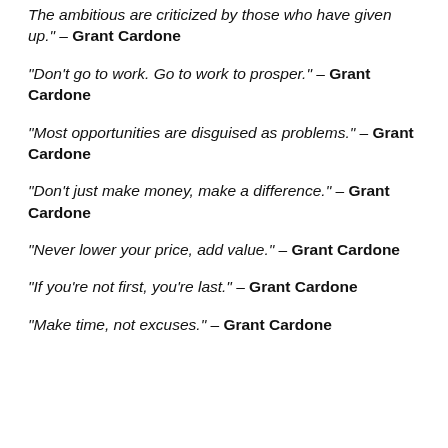“The ambitious are criticized by those who have given up.” – Grant Cardone
“Don’t go to work. Go to work to prosper.” – Grant Cardone
“Most opportunities are disguised as problems.” – Grant Cardone
“Don’t just make money, make a difference.” – Grant Cardone
“Never lower your price, add value.” – Grant Cardone
“If you’re not first, you’re last.” – Grant Cardone
“Make time, not excuses.” – Grant Cardone